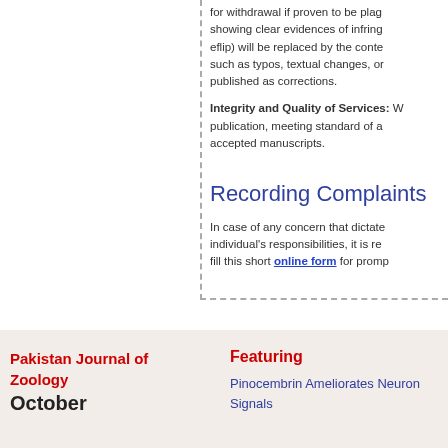for withdrawal if proven to be plagiarized, showing clear evidences of infringement (e.g., eflip) will be replaced by the content changes such as typos, textual changes, or others will be published as corrections.
Integrity and Quality of Services: We ensure publication, meeting standard of all accepted manuscripts.
Recording Complaints
In case of any concern that dictates individual's responsibilities, it is re- fill this short online form for prompt...
Pakistan Journal of Zoology October | Featuring | Pinocembrin Ameliorates Neuron... | Signals